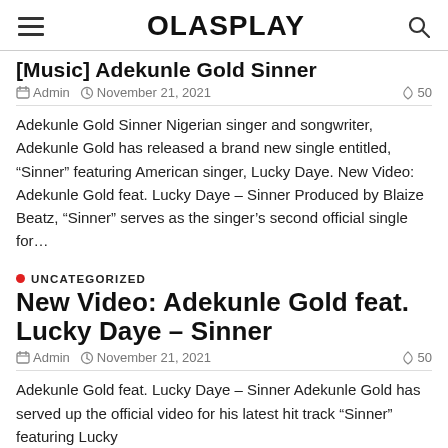OLASPLAY
[Music] Adekunle Gold Sinner
Admin  November 21, 2021  50
Adekunle Gold Sinner Nigerian singer and songwriter, Adekunle Gold has released a brand new single entitled, “Sinner” featuring American singer, Lucky Daye. New Video: Adekunle Gold feat. Lucky Daye – Sinner Produced by Blaize Beatz, “Sinner” serves as the singer’s second official single for…
UNCATEGORIZED
New Video: Adekunle Gold feat. Lucky Daye – Sinner
Admin  November 21, 2021  50
Adekunle Gold feat. Lucky Daye – Sinner Adekunle Gold has served up the official video for his latest hit track “Sinner” featuring Lucky